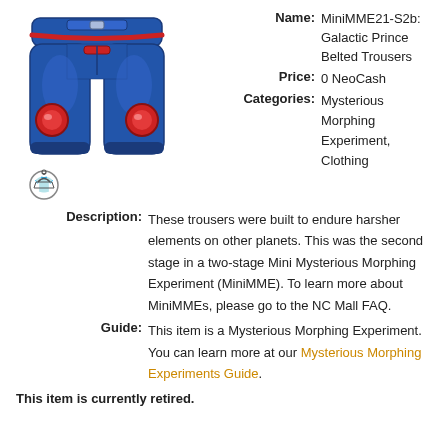[Figure (illustration): Illustration of blue sci-fi/space-themed belted trousers with red accents and glowing red circles, with a small circular icon at the bottom left showing a clothing/wearable symbol.]
Name: MiniMME21-S2b: Galactic Prince Belted Trousers
Price: 0 NeoCash
Categories: Mysterious Morphing Experiment, Clothing
Description: These trousers were built to endure harsher elements on other planets. This was the second stage in a two-stage Mini Mysterious Morphing Experiment (MiniMME). To learn more about MiniMMEs, please go to the NC Mall FAQ.
Guide: This item is a Mysterious Morphing Experiment. You can learn more at our Mysterious Morphing Experiments Guide.
This item is currently retired.